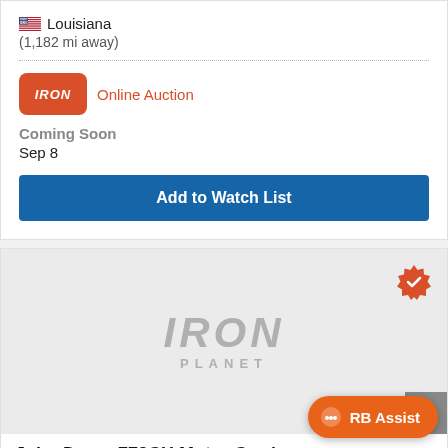🇺🇸 Louisiana
(1,182 mi away)
Online Auction
Coming Soon
Sep 8
Add to Watch List
[Figure (logo): IronPlanet logo placeholder image with grey IRON PLANET text on light grey background, verified badge (orange gear with checkmark) top right]
John Deere 772CH Motor Grader
RB Assist